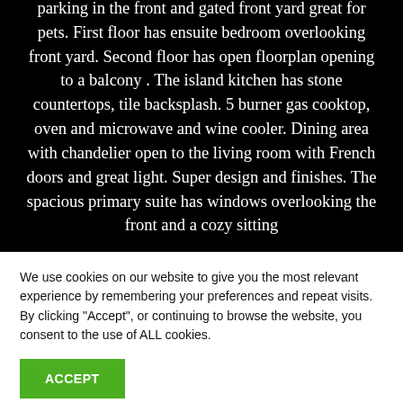parking in the front and gated front yard great for pets. First floor has ensuite bedroom overlooking front yard. Second floor has open floorplan opening to a balcony . The island kitchen has stone countertops, tile backsplash. 5 burner gas cooktop, oven and microwave and wine cooler. Dining area with chandelier open to the living room with French doors and great light. Super design and finishes. The spacious primary suite has windows overlooking the front and a cozy sitting
We use cookies on our website to give you the most relevant experience by remembering your preferences and repeat visits. By clicking "Accept", or continuing to browse the website, you consent to the use of ALL cookies.
ACCEPT